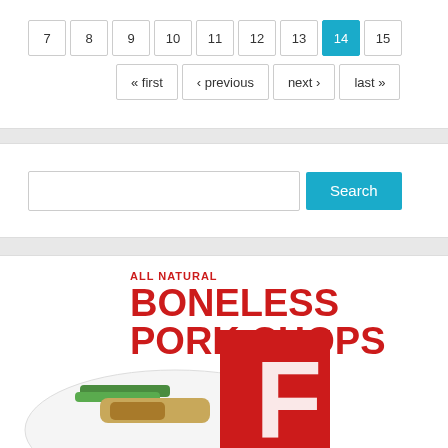[Figure (screenshot): Pagination navigation showing page buttons 7 through 15, with page 14 highlighted in cyan/teal, and navigation links: « first, ‹ previous, next ›, last »]
[Figure (screenshot): Search bar with a text input field and a cyan 'Search' button]
[Figure (other): Grocery store advertisement showing 'ALL NATURAL BONELESS PORK CHOPS 99¢ 8 OZ LIMIT 10' in red text, with a plate of food visible at the bottom]